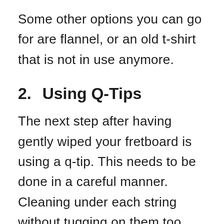Some other options you can go for are flannel, or an old t-shirt that is not in use anymore.
2.    Using Q-Tips
The next step after having gently wiped your fretboard is using a q-tip. This needs to be done in a careful manner. Cleaning under each string without tugging on them too much is what you want to focus on. You can even scrape off any accumulated dirt